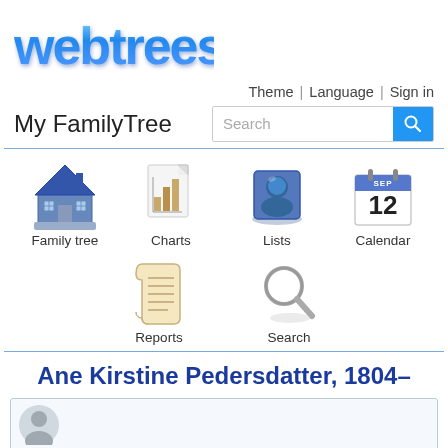[Figure (logo): webtrees logo in blue 3D bubble text style]
Theme | Language | Sign in
My FamilyTree
Search
[Figure (illustration): Navigation icon grid: Family tree (house icon), Charts (bar chart document icon), Lists (blue people list icon), Calendar (SEP 12 calendar icon), Reports (scroll document icon), Search (magnifying glass icon)]
Ane Kirstine Pedersdatter, 1804–
[Figure (photo): Partial person silhouette/photo at bottom of page]